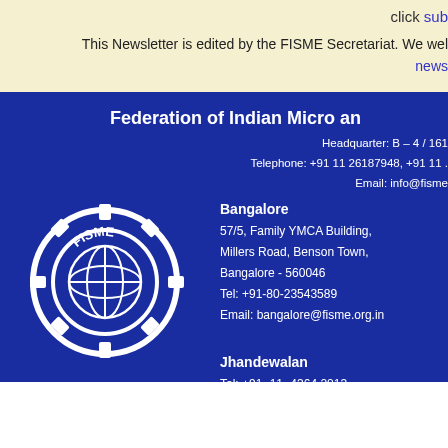click sub...
This Newsletter is edited by the FISME Secretariat. We wel... news...
Federation of Indian Micro an...
Headquarter: B – 4 / 161...
Telephone: +91 11 26187948, +91 11 ...
Email: info@fisme...
[Figure (logo): FISME circular logo with gear and globe design in white on blue background]
Bangalore
57/5, Family YMCA Building,
Millers Road, Benson Town,
Bangalore - 560046
Tel: +91-80-23543589
Email: bangalore@fisme.org.in
Jhandewalan
Tel: +91- 11- 4364 2013
Email: chamber.jw@fisme.org.in